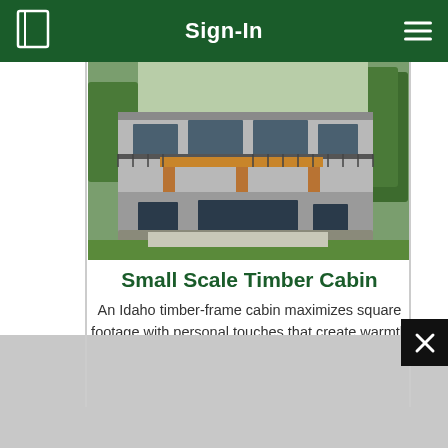Sign-In
[Figure (photo): Two-story Idaho timber-frame cabin with wooden beam supports, wraparound deck/balcony, stone accents, surrounded by green lawn and trees]
Small Scale Timber Cabin
An Idaho timber-frame cabin maximizes square footage with personal touches that create warmth and accessibility.